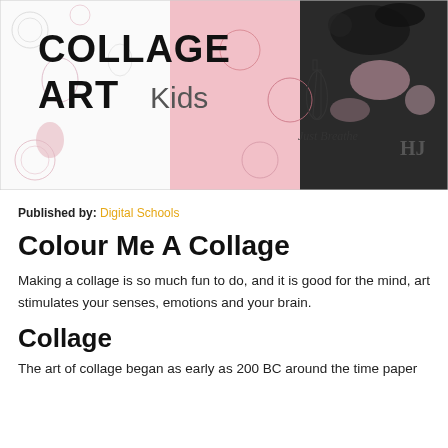[Figure (illustration): Collage Art Kids banner image with decorative doodle patterns in pink, white and black. Text reads 'COLLAGE ART Kids' in large bold black letters. Also shows 'Just Breathe' text with a lung illustration and 'HJ' monogram on the right side.]
Published by: Digital Schools
Colour Me A Collage
Making a collage is so much fun to do, and it is good for the mind, art stimulates your senses, emotions and your brain.
Collage
The art of collage began as early as 200 BC around the time paper